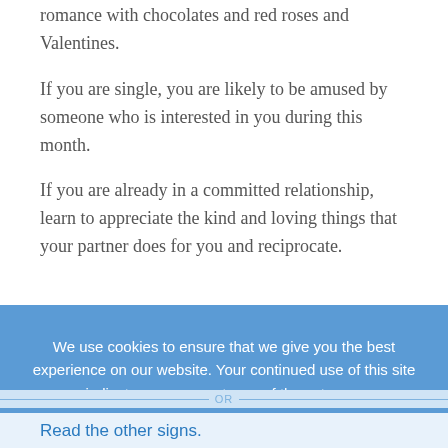romance with chocolates and red roses and Valentines.
If you are single, you are likely to be amused by someone who is interested in you during this month.
If you are already in a committed relationship, learn to appreciate the kind and loving things that your partner does for you and reciprocate.
We use cookies to ensure that we give you the best experience on our website. Your continued use of this site indicates your acceptance of these terms.
Read the other signs.